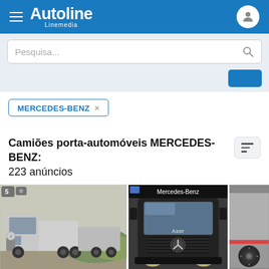Autoline Linemedia
Pesquisa...
MERCEDES-BENZ ×
Camiões porta-automóveis MERCEDES-BENZ: 223 anúncios
[Figure (photo): Three Mercedes-Benz truck photos in a horizontal grid: left shows a white Mercedes-Benz flatbed truck from the side with a trailer, center shows a front view of a black Mercedes-Benz Axor truck cab, right shows a partial view of a truck with wheel.]